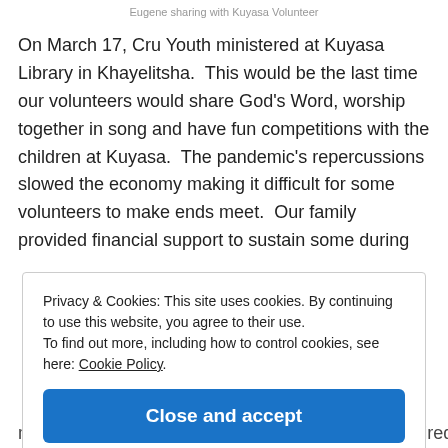Eugene sharing with Kuyasa Volunteer
On March 17, Cru Youth ministered at Kuyasa Library in Khayelitsha.  This would be the last time our volunteers would share God's Word, worship together in song and have fun competitions with the children at Kuyasa.  The pandemic's repercussions slowed the economy making it difficult for some volunteers to make ends meet.  Our family provided financial support to sustain some during
Privacy & Cookies: This site uses cookies. By continuing to use this website, you agree to their use.
To find out more, including how to control cookies, see here: Cookie Policy
Close and accept
mentored others to achieve their the goals and desired